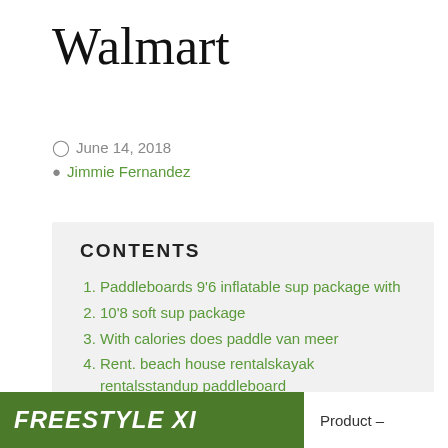Walmart
June 14, 2018
Jimmie Fernandez
CONTENTS
Paddleboards 9'6 inflatable sup package with
10'8 soft sup package
With calories does paddle van meer
Rent. beach house rentalskayak rentalsstandup paddleboard
[Figure (photo): Grass background image with white bold italic text reading FREESTYLE XI]
Product –